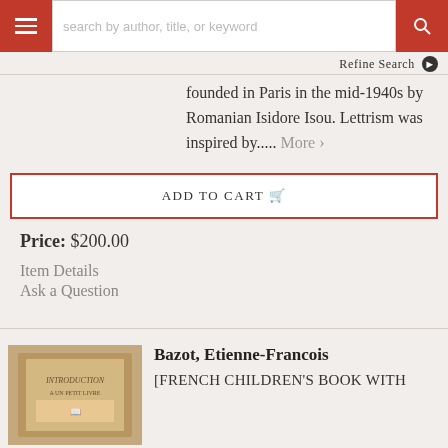search by author, title, or keyword
Refine Search
founded in Paris in the mid-1940s by Romanian Isidore Isou. Lettrism was inspired by..... More >
ADD TO CART
Price: $200.00
Item Details
Ask a Question
Bazot, Etienne-Francois
[FRENCH CHILDREN'S BOOK WITH